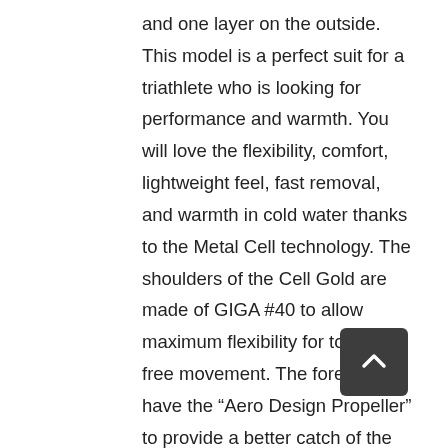and one layer on the outside. This model is a perfect suit for a triathlete who is looking for performance and warmth. You will love the flexibility, comfort, lightweight feel, fast removal, and warmth in cold water thanks to the Metal Cell technology. The shoulders of the Cell Gold are made of GIGA #40 to allow maximum flexibility for totally free movement. The forearms have the “Aero Design Propeller” to provide a better catch of the water during the pulling phase of the stroke. The collar, made of GIGA #40 has a new “Revolving Collar”